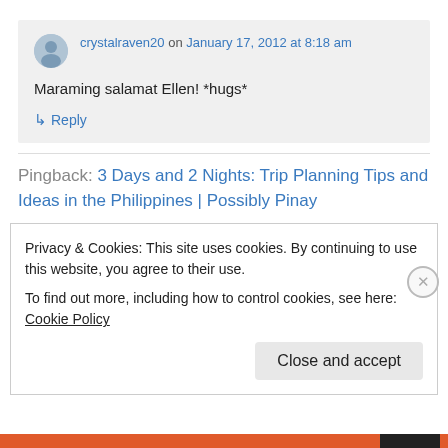crystalraven20 on January 17, 2012 at 8:18 am
Maraming salamat Ellen! *hugs*
↳ Reply
Pingback: 3 Days and 2 Nights: Trip Planning Tips and Ideas in the Philippines | Possibly Pinay
Privacy & Cookies: This site uses cookies. By continuing to use this website, you agree to their use.
To find out more, including how to control cookies, see here: Cookie Policy
Close and accept